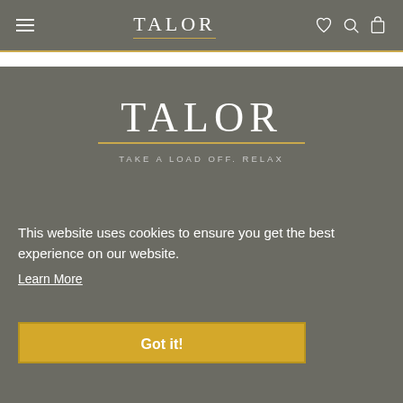TALOR – navigation header with hamburger menu, logo, heart icon, search icon, bag icon
[Figure (logo): TALOR brand logo in large serif letters with gold underline and tagline TAKE A LOAD OFF. RELAX]
This website uses cookies to ensure you get the best experience on our website.
Learn More
Got it!